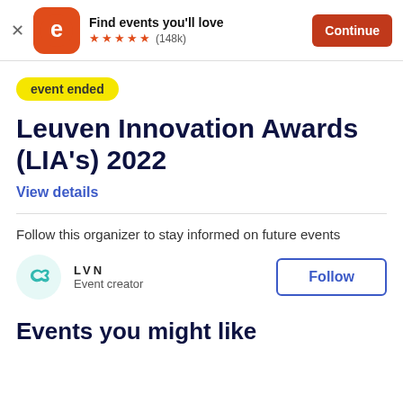[Figure (screenshot): Eventbrite app banner with orange logo, star rating (148k reviews), and Continue button]
event ended
Leuven Innovation Awards (LIA's) 2022
View details
Follow this organizer to stay informed on future events
[Figure (logo): LVN organizer logo - teal diamond/loop icon with LVN text and Event creator label]
Follow
Events you might like